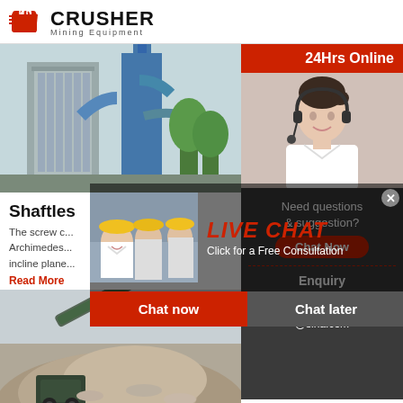[Figure (logo): Crusher Mining Equipment logo with red shopping bag icon and bold CRUSHER text]
[Figure (photo): Industrial dust collector or cyclone separator equipment at a facility]
Shaftles
The screw c... Archimedes... incline plane...
Read More
[Figure (photo): Mining conveyor belt with crushed stone/gravel pile]
Parts Separation Conveyor Optio
[Figure (photo): Live chat overlay with workers in hard hats and agent photo. Buttons: Chat now, Chat later]
24Hrs Online
[Figure (photo): Customer service agent with headset smiling]
Need questions & suggestion?
Chat Now
Enquiry
limingjlmofen@sina.com